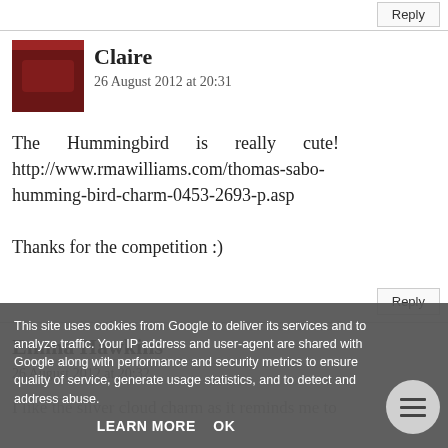Reply
Claire
26 August 2012 at 20:31
The Hummingbird is really cute! http://www.rmawilliams.com/thomas-sabo-humming-bird-charm-0453-2693-p.asp

Thanks for the competition :)
Reply
Emma Hawkins
26 August 2012 at 20:32
I like the silver cloud charm as it reminds me to
This site uses cookies from Google to deliver its services and to analyze traffic. Your IP address and user-agent are shared with Google along with performance and security metrics to ensure quality of service, generate usage statistics, and to detect and address abuse.
LEARN MORE   OK